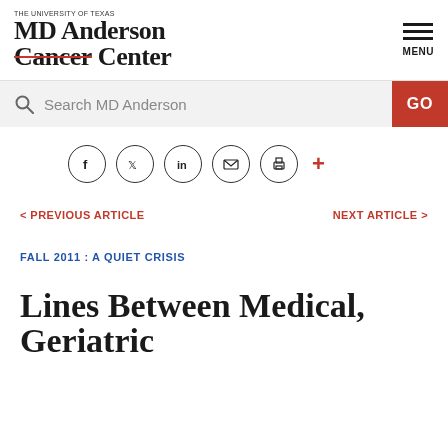THE UNIVERSITY OF TEXAS MD Anderson Cancer Center
[Figure (logo): MD Anderson Cancer Center logo with strikethrough on 'Cancer' in red]
[Figure (infographic): Hamburger menu icon with MENU label]
[Figure (infographic): Search bar with magnifying glass icon, placeholder 'Search MD Anderson', and red GO button]
[Figure (infographic): Social sharing icons row: Facebook, Twitter, LinkedIn, email, print circles, and red plus sign]
< PREVIOUS ARTICLE
NEXT ARTICLE >
FALL 2011 : A QUIET CRISIS
Lines Between Medical, Geriatric